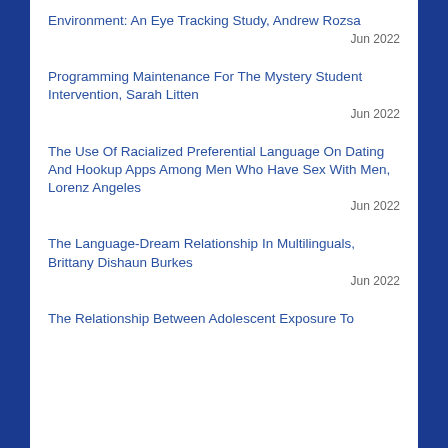Environment: An Eye Tracking Study, Andrew Rozsa
Jun 2022
Programming Maintenance For The Mystery Student Intervention, Sarah Litten
Jun 2022
The Use Of Racialized Preferential Language On Dating And Hookup Apps Among Men Who Have Sex With Men, Lorenz Angeles
Jun 2022
The Language-Dream Relationship In Multilinguals, Brittany Dishaun Burkes
Jun 2022
The Relationship Between Adolescent Exposure To